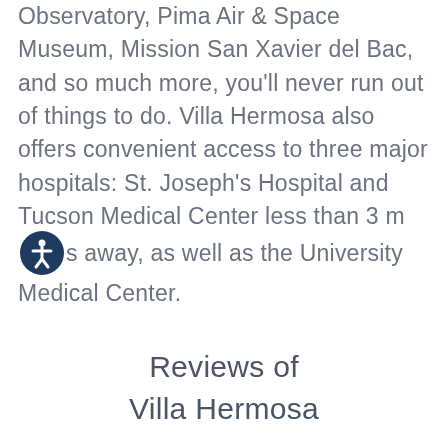Observatory, Pima Air & Space Museum, Mission San Xavier del Bac, and so much more, you'll never run out of things to do. Villa Hermosa also offers convenient access to three major hospitals: St. Joseph's Hospital and Tucson Medical Center less than 3 miles away, as well as the University Medical Center.
Reviews of Villa Hermosa